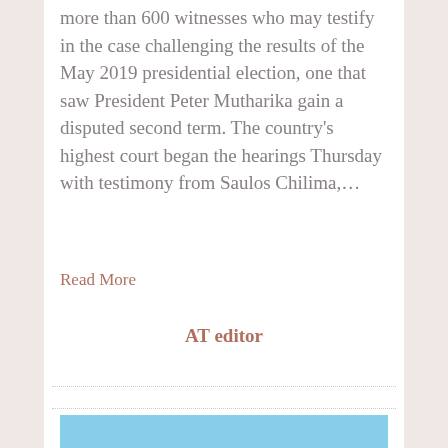more than 600 witnesses who may testify in the case challenging the results of the May 2019 presidential election, one that saw President Peter Mutharika gain a disputed second term. The country's highest court began the hearings Thursday with testimony from Saulos Chilima,…
Read More
AT editor
[Figure (photo): Photo of a person (man) in the foreground with a tree and another person visible in the background against a blue sky]